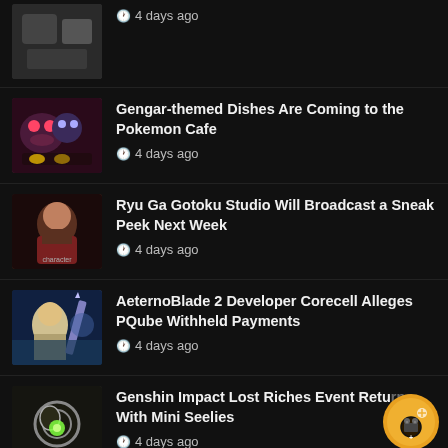4 days ago
Gengar-themed Dishes Are Coming to the Pokemon Cafe — 4 days ago
Ryu Ga Gotoku Studio Will Broadcast a Sneak Peek Next Week — 4 days ago
AeternoBlade 2 Developer Corecell Alleges PQube Withheld Payments — 4 days ago
Genshin Impact Lost Riches Event Returns With Mini Seelies — 4 days ago
Mob Psycho 100 III Ritsu Trailer Shows His Brother Complex